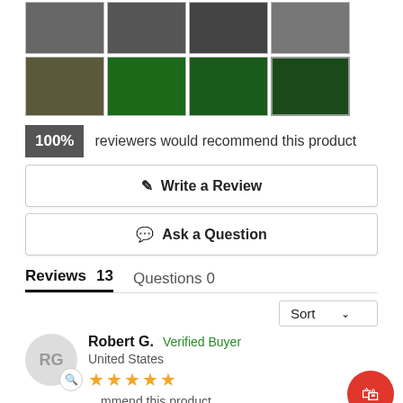[Figure (photo): Grid of motorcycle thumbnail photos, two rows of four images each showing dirt bikes/motocross bikes]
100% reviewers would recommend this product
✏ Write a Review
💬 Ask a Question
Reviews 13   Questions 0
Sort
Robert G.   Verified Buyer
United States
★★★★★
I would recommend this product